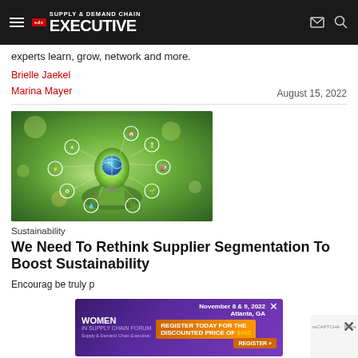Supply & Demand Chain Executive
experts learn, grow, network and more.
Brielle Jaekel
Marina Mayer
August 15, 2022
[Figure (photo): Hands holding a glowing green lightbulb with a globe inside, surrounded by circular sustainability icons, against a green leafy background]
Sustainability
We Need To Rethink Supplier Segmentation To Boost Sustainability
Encouraging... be truly p...
[Figure (infographic): Advertisement banner: Women In Supply Chain Forum, November 8 & 9, 2022, Atlanta GA. Register today for the discounted price of $495.]